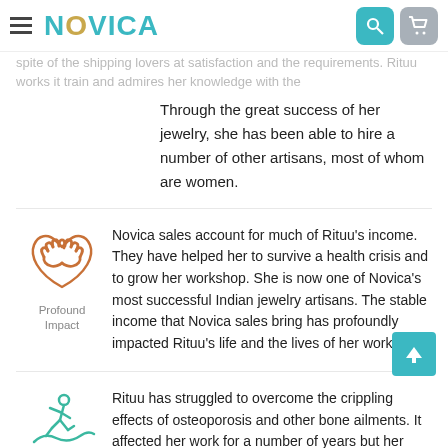NOVICA
spite of the shipping lovers at satisfaction and the requirements. Rituu works it train and admires her knowledge with the
Through the great success of her jewelry, she has been able to hire a number of other artisans, most of whom are women.
[Figure (illustration): Handshake heart icon in orange/brown color representing Profound Impact]
Profound Impact
Novica sales account for much of Rituu's income. They have helped her to survive a health crisis and to grow her workshop. She is now one of Novica's most successful Indian jewelry artisans. The stable income that Novica sales bring has profoundly impacted Rituu's life and the lives of her workers.
[Figure (illustration): Person running/skating icon in teal color representing Confronting Adversity]
Confronting Adversity
Rituu has struggled to overcome the crippling effects of osteoporosis and other bone ailments. It affected her work for a number of years but her determination has driven her forward and she has rebuilt her jewelry workshop in spite of